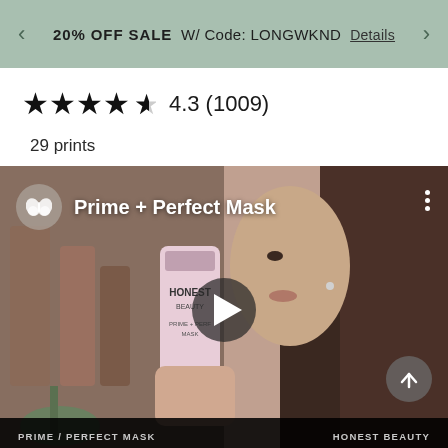20% OFF SALE W/ Code: LONGWKND  Details
★★★★½  4.3 (1009)
29 prints
[Figure (screenshot): Video thumbnail showing a woman holding an Honest Beauty Prime + Perfect Mask tube. Video player with play button overlay. Title bar shows butterfly logo and 'Prime + Perfect Mask'. Bottom bar shows 'PRIME / PERFECT MASK' and 'HONEST BEAUTY'.]